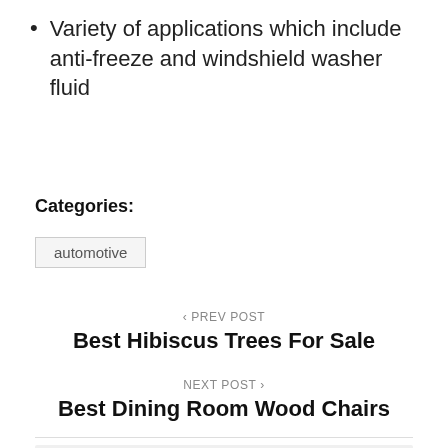Variety of applications which include anti-freeze and windshield washer fluid
Categories:
automotive
‹ PREV POST
Best Hibiscus Trees For Sale
NEXT POST ›
Best Dining Room Wood Chairs